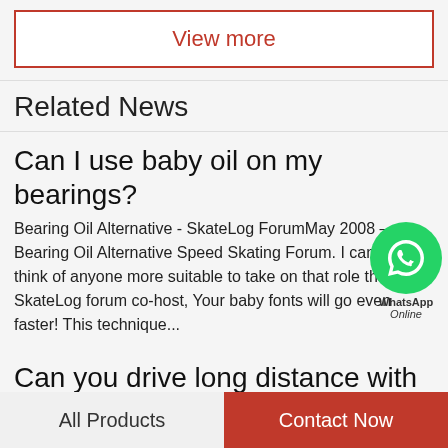View more
Related News
Can I use baby oil on my bearings?
Bearing Oil Alternative - SkateLog ForumMay 2008 — Bearing Oil Alternative Speed Skating Forum. I cannot think of anyone more suitable to take on that role than my SkateLog forum co-host, Your baby fonts will go even faster! This technique...
Can you drive long distance with a bad...
How long can I drive on a bad wheel bearing? - RimmerforumsMar 31, 2013 — You can drive on it for
All Products
Contact Now